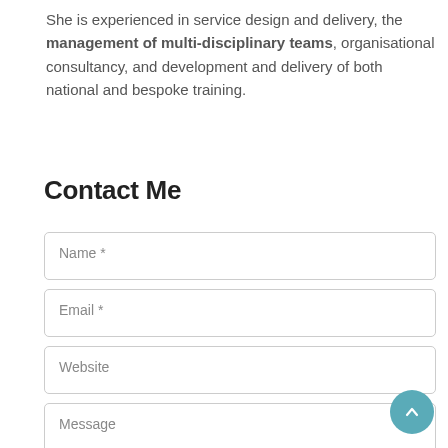She is experienced in service design and delivery, the management of multi-disciplinary teams, organisational consultancy, and development and delivery of both national and bespoke training.
Contact Me
Name *
Email *
Website
Message